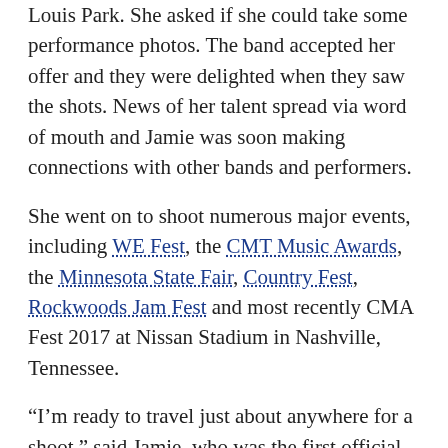Louis Park. She asked if she could take some performance photos. The band accepted her offer and they were delighted when they saw the shots. News of her talent spread via word of mouth and Jamie was soon making connections with other bands and performers.
She went on to shoot numerous major events, including WE Fest, the CMT Music Awards, the Minnesota State Fair, Country Fest, Rockwoods Jam Fest and most recently CMA Fest 2017 at Nissan Stadium in Nashville, Tennessee.
“I’m ready to travel just about anywhere for a shoot,” said Jamie, who was the first official photographer for